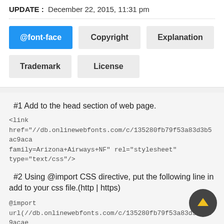UPDATE : December 22, 2015, 11:31 pm
@font-face
Copyright
Explanation
Trademark
License
#1 Add to the head section of web page.
<link href="//db.onlinewebfonts.com/c/135280fb79f53a83d3b5ac9aca family=Arizona+Airways+NF" rel="stylesheet" type="text/css"/>
#2 Using @import CSS directive, put the following line in add to your css file.(http | https)
@import url(//db.onlinewebfonts.com/c/135280fb79f53a83d3b5ac9acae family=Arizona+Airways+NF);